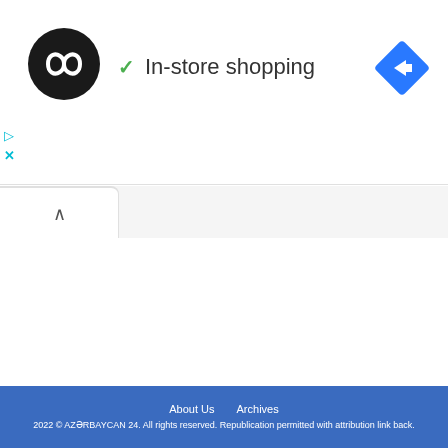[Figure (logo): Black circular logo with two overlapping infinity/link symbols in white]
✓ In-store shopping
[Figure (other): Blue diamond-shaped navigation/directions icon with white arrow pointing right]
▷
✕
∧
About Us   Archives
2022 © AZƏRBAYCAN 24. All rights reserved. Republication permitted with attribution link back.